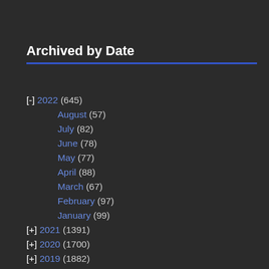Archived by Date
[-] 2022 (645)
August (57)
July (82)
June (78)
May (77)
April (88)
March (67)
February (97)
January (99)
[+] 2021 (1391)
[+] 2020 (1700)
[+] 2019 (1882)
[+] 2018 (1810)